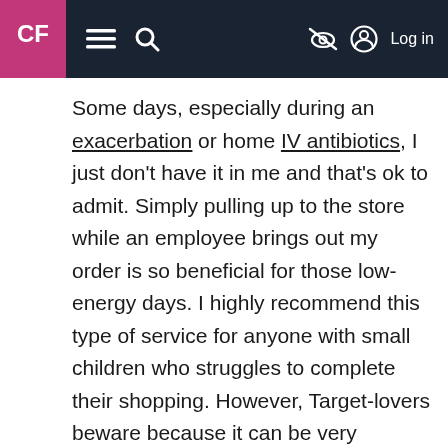CF [logo] navigation bar with menu, search, and log in
Some days, especially during an exacerbation or home IV antibiotics, I just don't have it in me and that's ok to admit. Simply pulling up to the store while an employee brings out my order is so beneficial for those low-energy days. I highly recommend this type of service for anyone with small children who struggles to complete their shopping. However, Target-lovers beware because it can be very dangerous. Please, practice self-control.